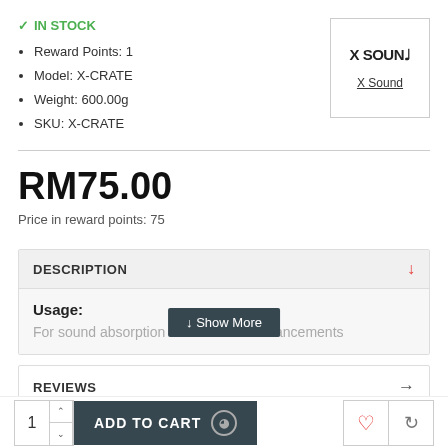IN STOCK
Reward Points: 1
Model: X-CRATE
Weight: 600.00g
SKU: X-CRATE
[Figure (logo): X Sound brand logo box with text X SOUND and underlined link X Sound]
RM75.00
Price in reward points: 75
DESCRIPTION
Usage:
For sound absorption and acoustic enhancements
REVIEWS